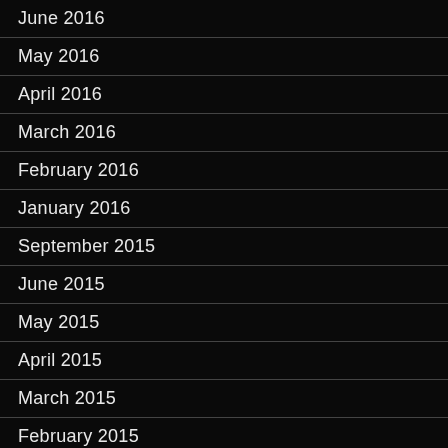June 2016
May 2016
April 2016
March 2016
February 2016
January 2016
September 2015
June 2015
May 2015
April 2015
March 2015
February 2015
January 2015